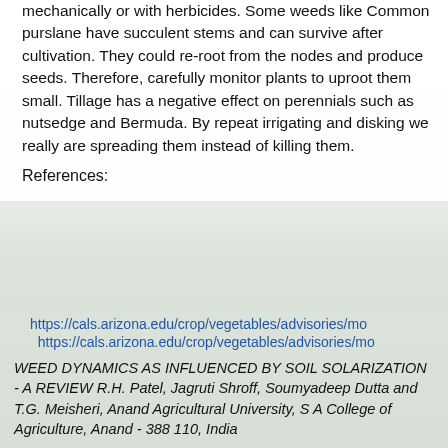mechanically or with herbicides. Some weeds like Common purslane have succulent stems and can survive after cultivation. They could re-root from the nodes and produce seeds. Therefore, carefully monitor plants to uproot them small. Tillage has a negative effect on perennials such as nutsedge and Bermuda. By repeat irrigating and disking we really are spreading them instead of killing them.
References:
https://cals.arizona.edu/crop/vegetables/advisories/mo
https://cals.arizona.edu/crop/vegetables/advisories/mo
WEED DYNAMICS AS INFLUENCED BY SOIL SOLARIZATION - A REVIEW R.H. Patel, Jagruti Shroff, Soumyadeep Dutta and T.G. Meisheri, Anand Agricultural University, S A College of Agriculture, Anand - 388 110, India
To contact Marco Pena go to: marcon@ag.arizona.edu